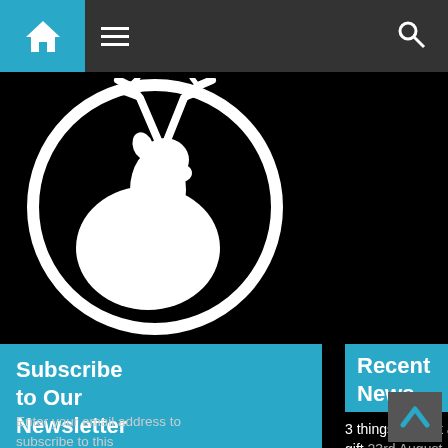Navigation bar with home, menu, and search icons
[Figure (logo): Circular logo with white deer/stag silhouette and antlers on black background, with cursive 'tt' text at bottom]
Subscribe to Our Newsletter
Enter your email address to subscribe to this
Recent News
3 things to think about when picking a gift 23rd August